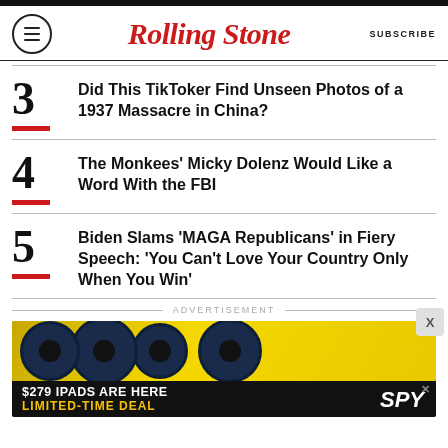RollingStone | SUBSCRIBE
3 Did This TikToker Find Unseen Photos of a 1937 Massacre in China?
4 The Monkees' Micky Dolenz Would Like a Word With the FBI
5 Biden Slams 'MAGA Republicans' in Fiery Speech: 'You Can't Love Your Country Only When You Win'
ADVERTISEMENT
[Figure (photo): Advertisement showing Sonos speakers and SPY branded ad: '$279 IPADS ARE HERE LIMITED-TIME DEAL']